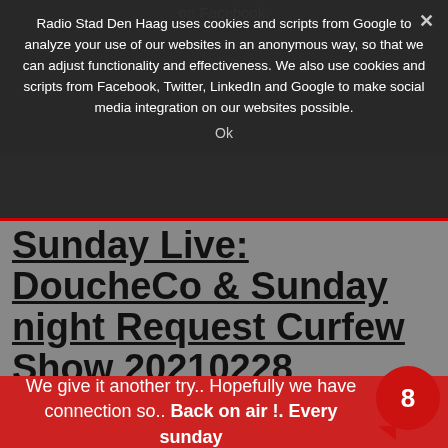on Facebook.
Radio Stad Den Haag uses cookies and scripts from Google to analyze your use of our websites in an anonymous way, so that we can adjust functionality and effectiveness. We also use cookies and scripts from Facebook, Twitter, LinkedIn and Google to make social media integration on our websites possible.
Ok
Sunday Live: DoucheCo & Sunday night Request Curfew Show 20210228
[Figure (photo): Illuminated ON AIR neon sign with red glowing letters on black background, bordered with red frame]
We give it another try.. Hopefully we have connection so.. Back on air !. Every sunday